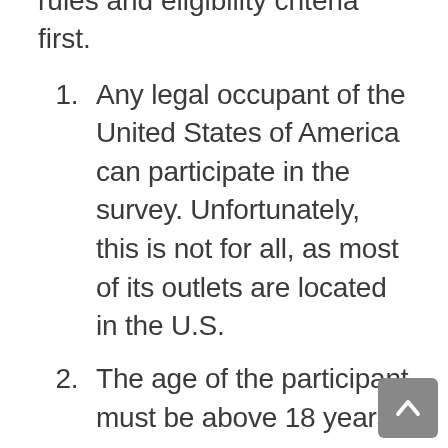rules and eligibility criteria first.
Any legal occupant of the United States of America can participate in the survey. Unfortunately, this is not for all, as most of its outlets are located in the U.S.
The age of the participant must be above 18 years.
Any employee of Panda Express, their immediate relative, sponsors, affiliates, or anyone directly connected with the company cannot participate.